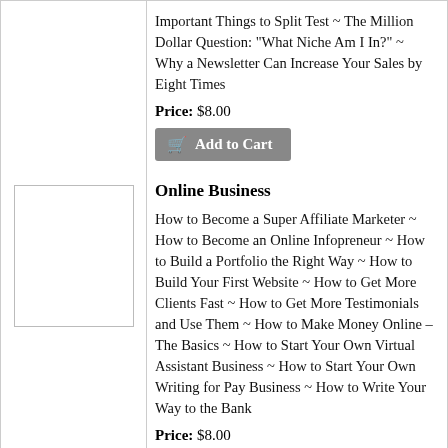Important Things to Split Test ~ The Million Dollar Question: "What Niche Am I In?" ~ Why a Newsletter Can Increase Your Sales by Eight Times
Price: $8.00
[Figure (other): Add to Cart button]
Online Business
How to Become a Super Affiliate Marketer ~ How to Become an Online Infopreneur ~ How to Build a Portfolio the Right Way ~ How to Build Your First Website ~ How to Get More Clients Fast ~ How to Get More Testimonials and Use Them ~ How to Make Money Online – The Basics ~ How to Start Your Own Virtual Assistant Business ~ How to Start Your Own Writing for Pay Business ~ How to Write Your Way to the Bank
Price: $8.00
[Figure (other): Add to Cart button]